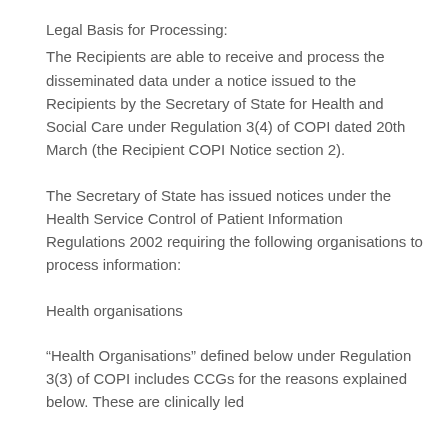Legal Basis for Processing:
The Recipients are able to receive and process the disseminated data under a notice issued to the Recipients by the Secretary of State for Health and Social Care under Regulation 3(4) of COPI dated 20th March (the Recipient COPI Notice section 2).
The Secretary of State has issued notices under the Health Service Control of Patient Information Regulations 2002 requiring the following organisations to process information:
Health organisations
“Health Organisations” defined below under Regulation 3(3) of COPI includes CCGs for the reasons explained below. These are clinically led